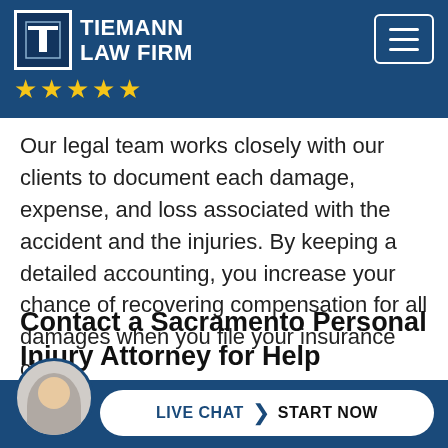[Figure (logo): Tiemann Law Firm logo with T emblem, firm name in white text, five gold stars, and a hamburger menu button on the right, all on dark blue background]
Our legal team works closely with our clients to document each damage, expense, and loss associated with the accident and the injuries. By keeping a detailed accounting, you increase your chance of recovering compensation for all damages when you file your insurance claim.
Contact a Sacramento Personal Injury Attorney for Help
When you file an insurance claim, the insurance comp...ssio...ne
[Figure (screenshot): Live chat widget at bottom with avatar photo of woman and button reading LIVE CHAT > START NOW on dark blue background]